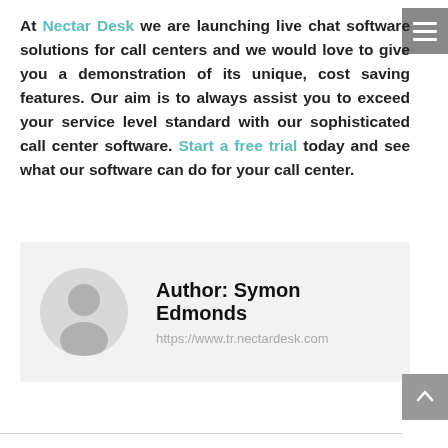At Nectar Desk we are launching live chat software solutions for call centers and we would love to give you a demonstration of its unique, cost saving features. Our aim is to always assist you to exceed your service level standard with our sophisticated call center software. Start a free trial today and see what our software can do for your call center.
[Figure (other): Author profile card with avatar silhouette, author name 'Author: Symon Edmonds', and URL 'https://www.tr.nectardesk.com']